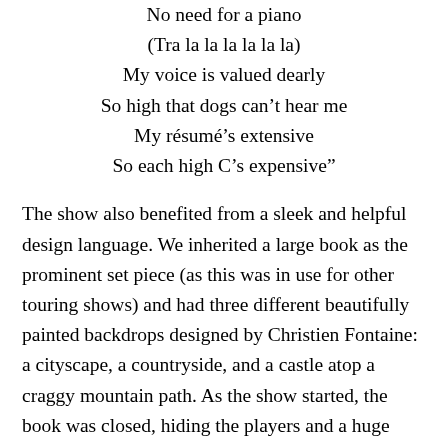No need for a piano
(Tra la la la la la la)
My voice is valued dearly
So high that dogs can't hear me
My résumé's extensive
So each high C's expensive"
The show also benefited from a sleek and helpful design language. We inherited a large book as the prominent set piece (as this was in use for other touring shows) and had three different beautifully painted backdrops designed by Christien Fontaine: a cityscape, a countryside, and a castle atop a craggy mountain path. As the show started, the book was closed, hiding the players and a huge assembly of random props and costumes that were used to inspire casting choices. When a setting was selected by the